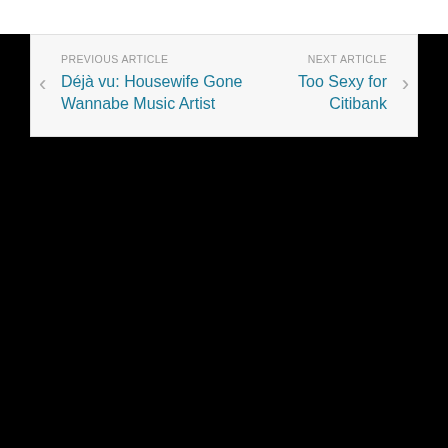PREVIOUS ARTICLE
Déjà vu: Housewife Gone Wannabe Music Artist
NEXT ARTICLE
Too Sexy for Citibank